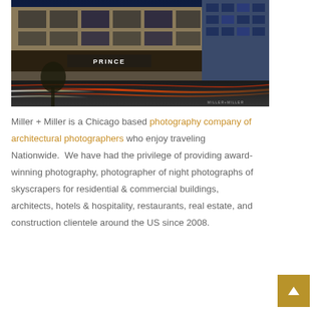[Figure (photo): Night-time architectural photograph of a Chicago building exterior with light trails from passing vehicles on the street. The building shows illuminated signage reading 'PRINCE' or similar. The Willis Tower (Sears Tower) is visible in the background. Photo watermark 'MILLER+MILLER' in lower right corner.]
Miller + Miller is a Chicago based photography company of architectural photographers who enjoy traveling Nationwide. We have had the privilege of providing award-winning photography, photographer of night photographs of skyscrapers for residential & commercial buildings, architects, hotels & hospitality, restaurants, real estate, and construction clientele around the US since 2008.